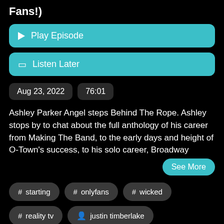Fans!)
Play Episode
Listen Later
Aug 23, 2022   76:01
Ashley Parker Angel steps Behind The Rope. Ashley stops by to chat about the full anthology of his career from Making The Band, to the early days and height of O-Town's success, to his solo career, Broadway
See More
# starting
# onlyfans
# wicked
# reality tv
justin timberlake